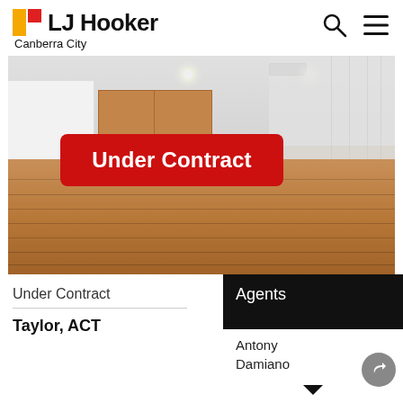LJ Hooker Canberra City
[Figure (photo): Interior photo of a modern home with white walls, timber kitchen cabinetry, white island bench, timber floorboards, and sheer curtains. A red 'Under Contract' badge overlays the center of the image.]
Under Contract
Taylor, ACT
Agents
Antony
Damiano